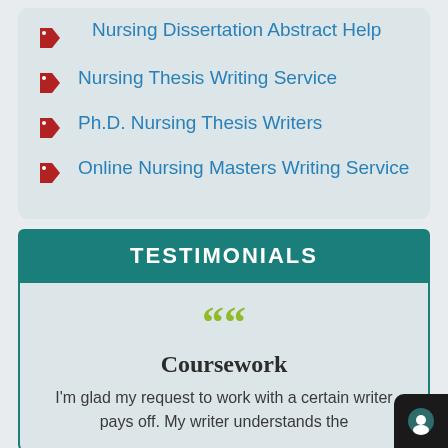Nursing Dissertation Abstract Help
Nursing Thesis Writing Service
Ph.D. Nursing Thesis Writers
Online Nursing Masters Writing Service
TESTIMONIALS
Coursework
I'm glad my request to work with a certain writer pays off. My writer understands the